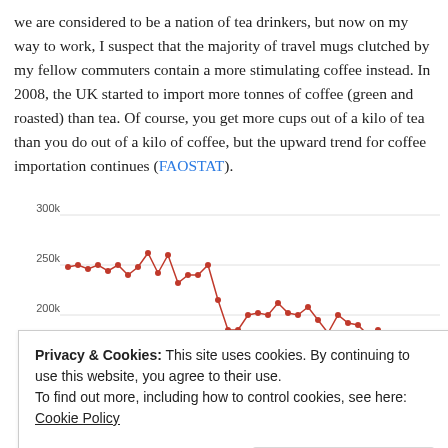we are considered to be a nation of tea drinkers, but now on my way to work, I suspect that the majority of travel mugs clutched by my fellow commuters contain a more stimulating coffee instead. In 2008, the UK started to import more tonnes of coffee (green and roasted) than tea. Of course, you get more cups out of a kilo of tea than you do out of a kilo of coffee, but the upward trend for coffee importation continues (FAOSTAT).
[Figure (continuous-plot): Line chart showing UK import data with a red line trending downward from around 250k-260k to about 170k, and blue dotted line visible at far right around 170k. Y-axis shows values 200k, 250k, 300k. Partially obscured by cookie banner.]
Privacy & Cookies: This site uses cookies. By continuing to use this website, you agree to their use.
To find out more, including how to control cookies, see here: Cookie Policy
Close and accept
United Kingdom    United Kingdom